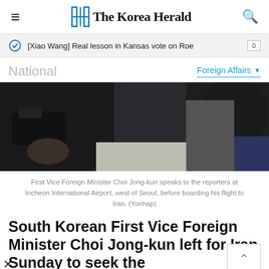The Korea Herald
[Xiao Wang] Real lesson in Kansas vote on Roe
National
Foreign Affairs
[Figure (photo): First Vice Foreign Minister Choi Jong-kun speaking to reporters at Incheon International Airport before boarding flight to Iran]
First Vice Foreign Minister Choi Jong-kun speaks to the reporters at Incheon International Airport, west of Seoul, before boarding his flight to Iran. (Yonhap)
South Korean First Vice Foreign Minister Choi Jong-kun left for Iran Sunday to seek the